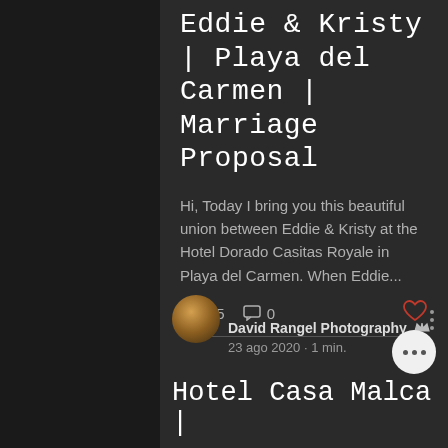Eddie & Kristy | Playa del Carmen | Marriage Proposal
Hi, Today I bring you this beautiful union between Eddie & Kristy at the Hotel Dorado Casitas Royale in Playa del Carmen. When Eddie...
👁 15   💬 0   ♡
David Rangel Photography 👑
23 ago 2020 · 1 min.
Hotel Casa Malca |